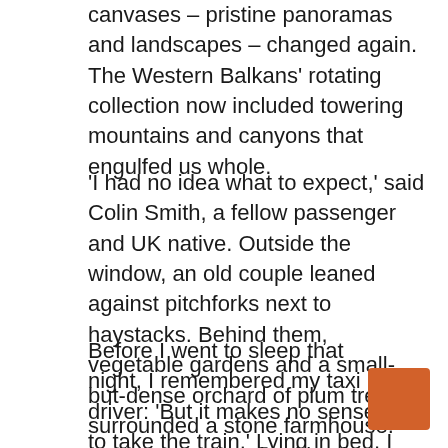canvases – pristine panoramas and landscapes – changed again. The Western Balkans' rotating collection now included towering mountains and canyons that engulfed us whole.
'I had no idea what to expect,' said Colin Smith, a fellow passenger and UK native. Outside the window, an old couple leaned against pitchforks next to haystacks. Behind them, vegetable gardens and a small-but-dense orchard of plum trees surrounded a stone farmhouse. 'But I am so surprised by the beauty: the mountains, steep ravines and endless drops.'
Before I went to sleep that night, I remembered my taxi driver: 'But it makes no sense to take the train.' Lying in bed, I could hear the sea washing onto the shore outside my rented apartment's window. If I ever saw him again, I would make sure to tell the